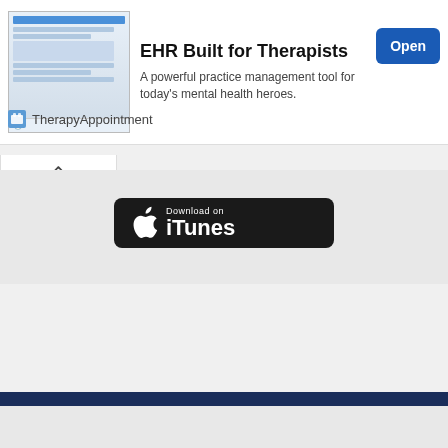[Figure (screenshot): Screenshot of TherapyAppointment app on a laptop screen]
EHR Built for Therapists
A powerful practice management tool for today's mental health heroes.
[Figure (other): Open button (blue)]
TherapyAppointment
[Figure (other): Collapse/chevron up button]
[Figure (other): Download on iTunes button]
[Figure (other): Navy horizontal bar divider]